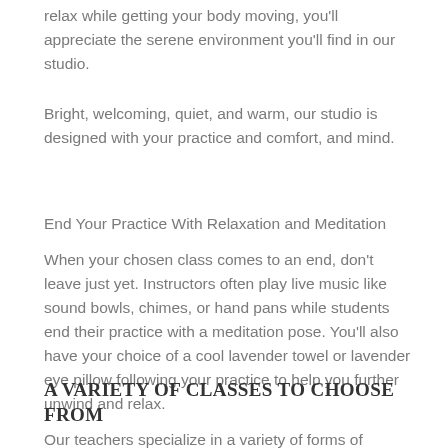relax while getting your body moving, you'll appreciate the serene environment you'll find in our studio.
Bright, welcoming, quiet, and warm, our studio is designed with your practice and comfort, and mind.
End Your Practice With Relaxation and Meditation
When your chosen class comes to an end, don't leave just yet. Instructors often play live music like sound bowls, chimes, or hand pans while students end their practice with a meditation pose. You'll also have your choice of a cool lavender towel or lavender eye pillow following your practice to help you further unwind and relax.
A VARIETY OF CLASSES TO CHOOSE FROM
Our teachers specialize in a variety of forms of